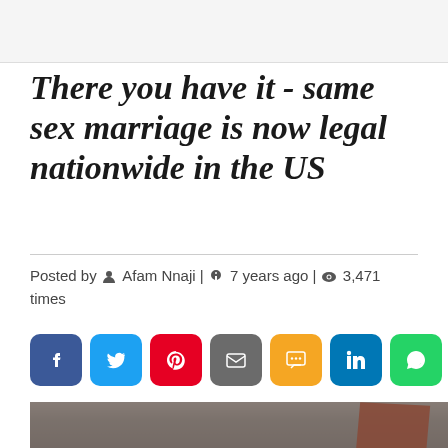There you have it - same sex marriage is now legal nationwide in the US
Posted by Afam Nnaji | 7 years ago | 3,471 times
[Figure (illustration): Row of social media share buttons: Facebook (blue), Twitter (light blue), Pinterest (red), Email (grey), SMS (yellow/orange), LinkedIn (dark blue), WhatsApp (green)]
[Figure (photo): Outdoor crowd scene with people holding flags; a prominent red flag/banner visible on the right side, people celebrating in background]